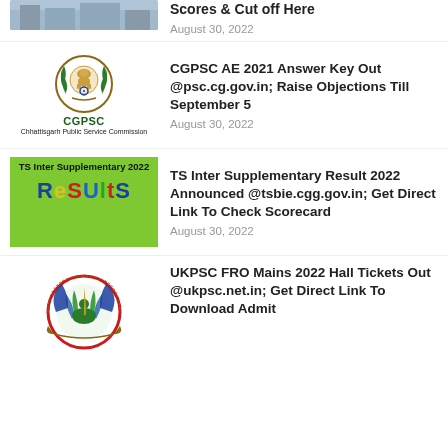[Figure (photo): Building/campus photo (partially visible at top)]
Scores & Cut off Here
August 30, 2022
[Figure (logo): CGPSC - Chhattisgarh Public Service Commission logo with emblem]
CGPSC AE 2021 Answer Key Out @psc.cg.gov.in; Raise Objections Till September 5
August 30, 2022
[Figure (photo): TS Inter Supplementary 2022 Results banner on green background]
TS Inter Supplementary Result 2022 Announced @tsbie.cgg.gov.in; Get Direct Link To Check Scorecard
August 30, 2022
[Figure (logo): UKPSC logo - Uttarakhand Public Service Commission emblem with peacock]
UKPSC FRO Mains 2022 Hall Tickets Out @ukpsc.net.in; Get Direct Link To Download Admit